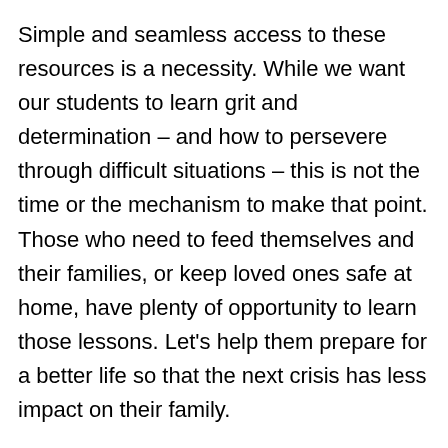Simple and seamless access to these resources is a necessity. While we want our students to learn grit and determination – and how to persevere through difficult situations – this is not the time or the mechanism to make that point. Those who need to feed themselves and their families, or keep loved ones safe at home, have plenty of opportunity to learn those lessons. Let's help them prepare for a better life so that the next crisis has less impact on their family.
Accountability
We must let these students know that we expect them to continue with their studies and graduate, despite all that could keep them from doing so. And if they do not